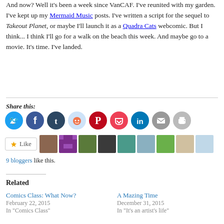And now? Well it's been a week since VanCAF. I've reunited with my garden. I've kept up my Mermaid Music posts. I've written a script for the sequel to Takeout Planet, or maybe I'll launch it as a Quadra Cats webcomic. But I think... I think I'll go for a walk on the beach this week. And maybe go to a movie. It's time. I've landed.
Share this:
[Figure (infographic): Row of social sharing icons: Twitter (blue), Facebook (blue), Tumblr (dark navy), Reddit (light blue), Pinterest (red), Pocket (dark red), LinkedIn (teal), Email (grey), Print (grey)]
[Figure (infographic): Like button and 9 blogger avatar thumbnails]
9 bloggers like this.
Related
Comics Class: What Now?
February 22, 2015
In "Comics Class"
A Mazing Time
December 31, 2015
In "It's an artist's life"